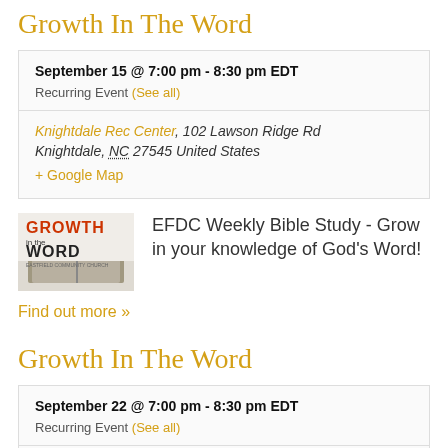Growth In The Word
September 15 @ 7:00 pm - 8:30 pm EDT
Recurring Event (See all)
Knightdale Rec Center, 102 Lawson Ridge Rd Knightdale, NC 27545 United States + Google Map
[Figure (photo): Growth in the Word event thumbnail showing text 'GROWTH in the WORD' with a bible image]
EFDC Weekly Bible Study - Grow in your knowledge of God's Word!
Find out more »
Growth In The Word
September 22 @ 7:00 pm - 8:30 pm EDT
Recurring Event (See all)
Knightdale Rec Center, 102 Lawson Ridge Rd Knightdale, NC 27545 United Sta...